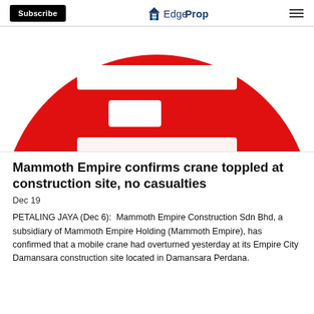Subscribe | EdgeProp
[Figure (logo): Partial red circular logo/icon with white horizontal rectangles, shown cropped at top of page]
Mammoth Empire confirms crane toppled at construction site, no casualties
Dec 19
PETALING JAYA (Dec 6): Mammoth Empire Construction Sdn Bhd, a subsidiary of Mammoth Empire Holding (Mammoth Empire), has confirmed that a mobile crane had overturned yesterday at its Empire City Damansara construction site located in Damansara Perdana.